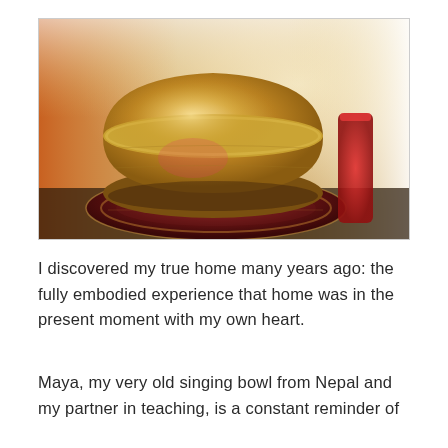[Figure (photo): Close-up photograph of a Tibetan singing bowl made of aged metal, sitting on an ornate round cushion with red and gold fabric. A red mallet or stick is visible to the right. The background is bright/warm with orange and white light.]
I discovered my true home many years ago: the fully embodied experience that home was in the present moment with my own heart.
Maya, my very old singing bowl from Nepal and my partner in teaching, is a constant reminder of